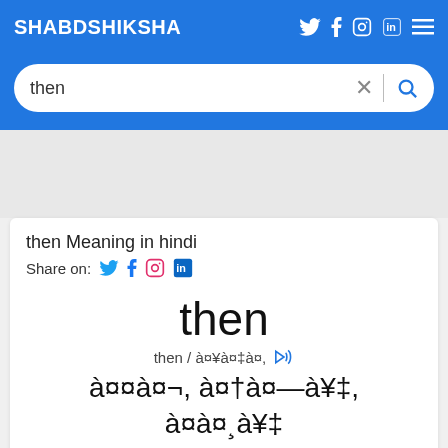SHABDSHIKSHA
then
then Meaning in hindi
Share on:
then
then / à¤¥à¤‡à¤,
à¤¤à¤¬, à¤†à¤—à¥‡, à¤à¤¸à¥‡